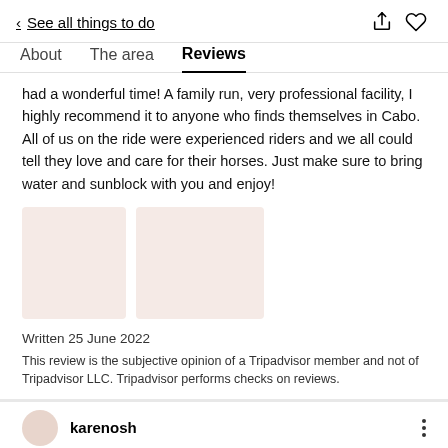< See all things to do
About  The area  Reviews
had a wonderful time! A family run, very professional facility, I highly recommend it to anyone who finds themselves in Cabo. All of us on the ride were experienced riders and we all could tell they love and care for their horses. Just make sure to bring water and sunblock with you and enjoy!
[Figure (photo): Two placeholder image thumbnails side by side with beige/light pink background]
Written 25 June 2022
This review is the subjective opinion of a Tripadvisor member and not of Tripadvisor LLC. Tripadvisor performs checks on reviews.
karenosh